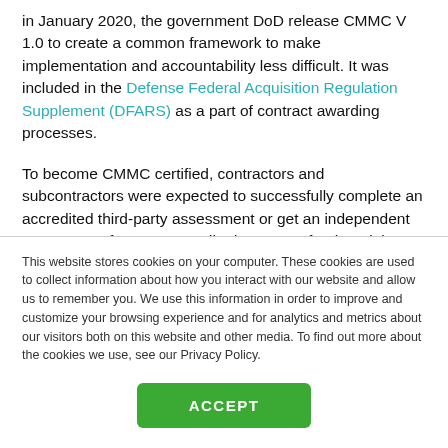In January 2020, the government DoD release CMMC V 1.0 to create a common framework to make implementation and accountability less difficult. It was included in the Defense Federal Acquisition Regulation Supplement (DFARS) as a part of contract awarding processes.
To become CMMC certified, contractors and subcontractors were expected to successfully complete an accredited third-party assessment or get an independent assessment from an accredited assessor for the minimum CMMC certification level needed for a DoD
This website stores cookies on your computer. These cookies are used to collect information about how you interact with our website and allow us to remember you. We use this information in order to improve and customize your browsing experience and for analytics and metrics about our visitors both on this website and other media. To find out more about the cookies we use, see our Privacy Policy.